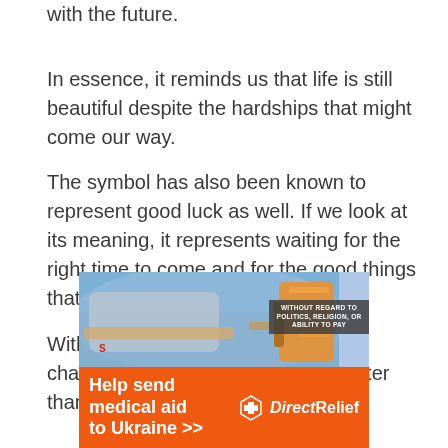with the future.
In essence, it reminds us that life is still beautiful despite the hardships that might come our way.
The symbol has also been known to represent good luck as well. If we look at its meaning, it represents waiting for the right time to come and for the good things that will come our way.
With these two, there are always the chances that the future can be brighter than we expect.
[Figure (infographic): Advertisement banner for Direct Relief charity: airplane being loaded with cargo at top, orange banner below reading 'Help send medical aid to Ukraine >>' with Direct Relief logo. Badge reading 'WITHOUT REGARD TO POLITICS, RELIGION, OR ABILITY TO PAY'.]